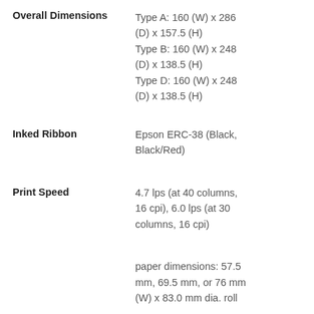Overall Dimensions: Type A: 160 (W) x 286 (D) x 157.5 (H), Type B: 160 (W) x 248 (D) x 138.5 (H), Type D: 160 (W) x 248 (D) x 138.5 (H)
Inked Ribbon: Epson ERC-38 (Black, Black/Red)
Print Speed: 4.7 lps (at 40 columns, 16 cpi), 6.0 lps (at 30 columns, 16 cpi)
paper dimensions: 57.5 mm, 69.5 mm, or 76 mm (W) x 83.0 mm dia. roll